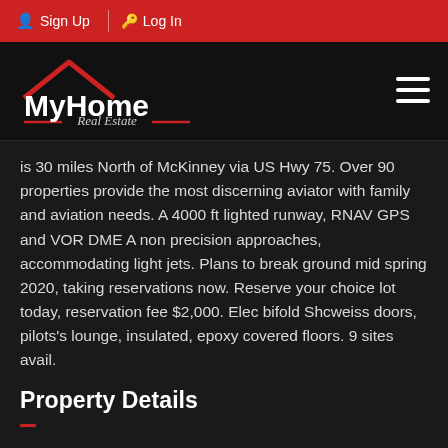Sign Up  Log In
[Figure (logo): MyHome Real Estate logo with house roof icon in red and white text on dark background]
is 30 miles North of McKinney via US Hwy 75. Over 90 properties provide the most discerning aviator with family and aviation needs. A 4000 ft lighted runway, RNAV GPS and VOR DME A non precision approaches, accommodating light jets. Plans to break ground mid spring 2020, taking reservations now. Reserve your choice lot today, reservation fee $2,000. Elec bifold Shcweiss doors, pilots's lounge, insulated, epoxy covered floors. 9 sites avail.
Property Details